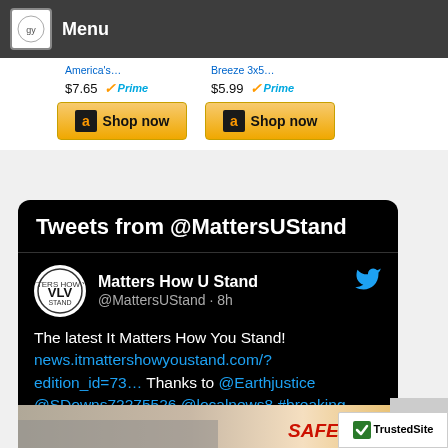Menu
[Figure (screenshot): Amazon product ad strip showing two products with prices $7.65 and $5.99 with Prime badges and Shop now buttons]
[Figure (screenshot): Twitter embed widget showing Tweets from @MattersUStand. Tweet by Matters How U Stand (@MattersUStand · 8h): The latest It Matters How You Stand! news.itmattershowyoustand.com/?edition_id=73... Thanks to @Earthjustice @SDowns72275526 @localnews8 #breaking #guncontrolnow]
[Figure (photo): Photo of a Safeway store exterior]